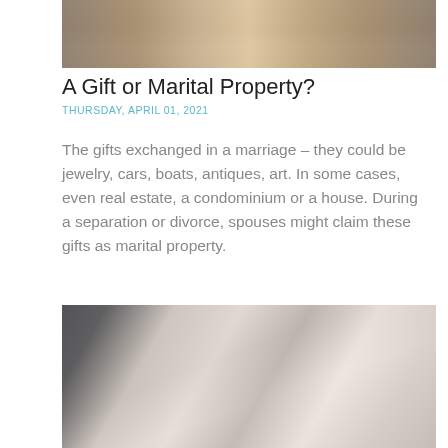[Figure (photo): Photo of cardboard moving boxes, person carrying boxes in background]
A Gift or Marital Property?
THURSDAY, APRIL 01, 2021
The gifts exchanged in a marriage – they could be jewelry, cars, boats, antiques, art. In some cases, even real estate, a condominium or a house. During a separation or divorce, spouses might claim these gifts as marital property.
[Figure (photo): Photo of two people at a desk with a laptop, one person signing a document]